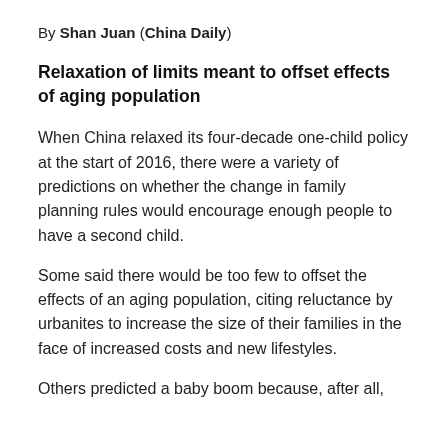By Shan Juan (China Daily)
Relaxation of limits meant to offset effects of aging population
When China relaxed its four-decade one-child policy at the start of 2016, there were a variety of predictions on whether the change in family planning rules would encourage enough people to have a second child.
Some said there would be too few to offset the effects of an aging population, citing reluctance by urbanites to increase the size of their families in the face of increased costs and new lifestyles.
Others predicted a baby boom because, after all,